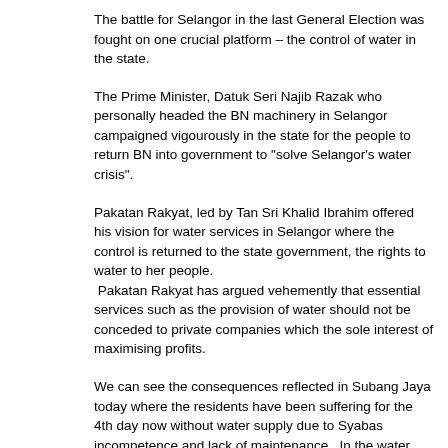The battle for Selangor in the last General Election was fought on one crucial platform – the control of water in the state.
The Prime Minister, Datuk Seri Najib Razak who personally headed the BN machinery in Selangor campaigned vigourously in the state for the people to return BN into government to "solve Selangor's water crisis".
Pakatan Rakyat, led by Tan Sri Khalid Ibrahim offered his vision for water services in Selangor where the control is returned to the state government, the rights to water to her people. Pakatan Rakyat has argued vehemently that essential services such as the provision of water should not be conceded to private companies which the sole interest of maximising profits.
We can see the consequences reflected in Subang Jaya today where the residents have been suffering for the 4th day now without water supply due to Syabas incompetence and lack of maintenance. In the water concession agreement, the obligation of maintaining the treated water reservoirs, as well as replacing broken and old pipes lay completely with SYABAS. Their failure to fulfil their obligations have caused repeated water shortages all over the Klang Valley over the past few months.